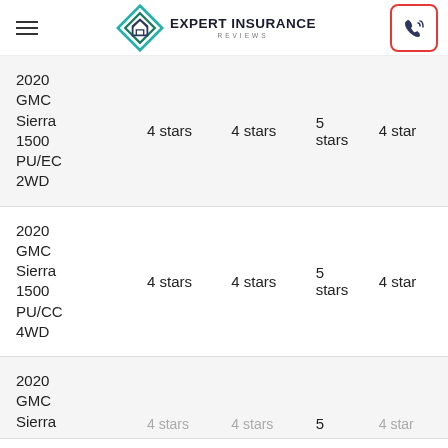Expert Insurance Reviews
| Model | Rating 1 | Rating 2 | Rating 3 | Rating 4 |
| --- | --- | --- | --- | --- |
| 2020 GMC Sierra 1500 PU/EC 2WD | 4 stars | 4 stars | 5 stars | 4 stars |
| 2020 GMC Sierra 1500 PU/CC 4WD | 4 stars | 4 stars | 5 stars | 4 stars |
| 2020 GMC Sierra | 4 stars | 4 stars | 5 stars | 4 stars |